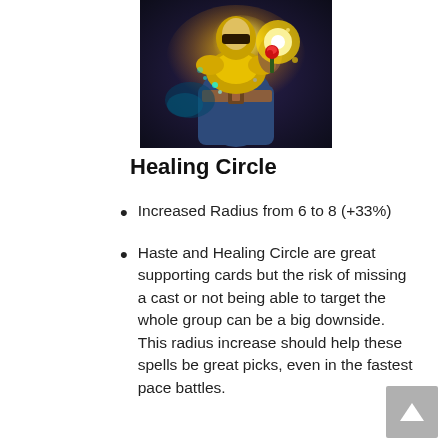[Figure (illustration): Fantasy game card art showing an armored character with a glowing golden aura holding a red rose, wearing a belt and blue robe, with magical energy surrounding them]
Healing Circle
Increased Radius from 6 to 8 (+33%)
Haste and Healing Circle are great supporting cards but the risk of missing a cast or not being able to target the whole group can be a big downside. This radius increase should help these spells be great picks, even in the fastest pace battles.